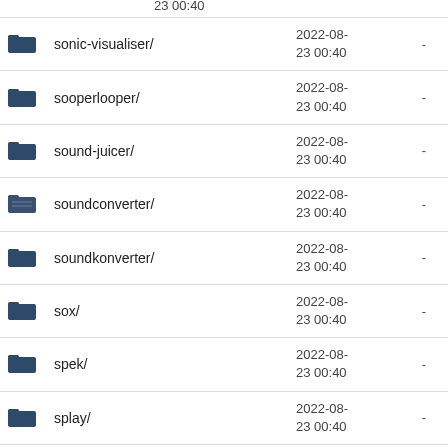sonic-visualiser/  2022-08-23 00:40  -
sooperlooper/  2022-08-23 00:40  -
sound-juicer/  2022-08-23 00:40  -
soundconverter/  2022-08-23 00:40  -
soundkonverter/  2022-08-23 00:40  -
sox/  2022-08-23 00:40  -
spek/  2022-08-23 00:40  -
splay/  2022-08-23 00:40  -